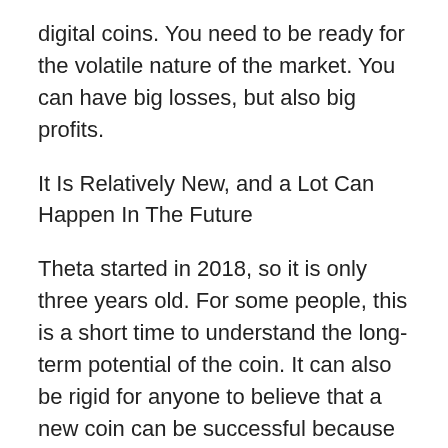digital coins. You need to be ready for the volatile nature of the market. You can have big losses, but also big profits.
It Is Relatively New, and a Lot Can Happen In The Future
Theta started in 2018, so it is only three years old. For some people, this is a short time to understand the long-term potential of the coin. It can also be rigid for anyone to believe that a new coin can be successful because of how quickly things change in the cryptocurrency universe. You need to be sure